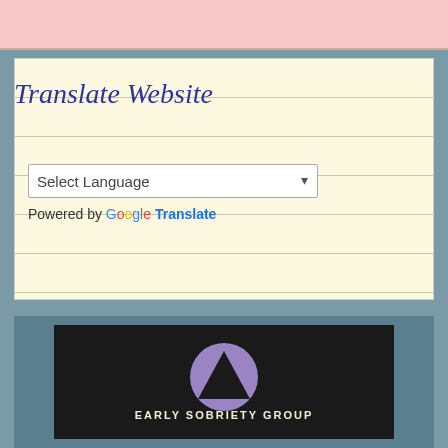[Figure (other): Pink banner at top of page]
Translate Website
[Figure (other): Select Language dropdown widget with Google Translate branding]
[Figure (logo): Early Sobriety Group logo — dark background with purple circle containing a triangle, text reads EARLY SOBRIETY GROUP]